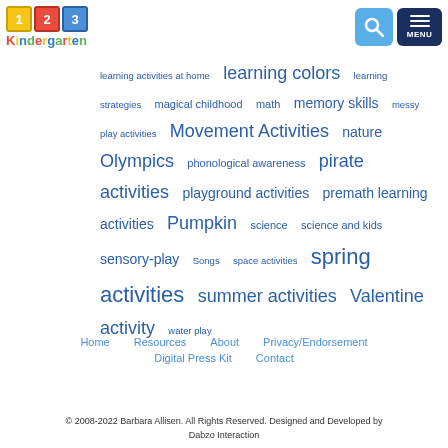[Figure (logo): 123 Kindergarten logo with colored number blocks and colorful text]
learning activities at home  learning colors  learning strategies  magical childhood  math  memory skills  messy play activities  Movement Activities  nature  Olympics  phonological awareness  pirate activities  playground activities  premath learning activities  Pumpkin  science  science and kids  sensory-play  Songs  space activities  spring activities  summer activities  Valentine activity  water play
Home   Resources   About   Privacy/Endorsement   Digital Press Kit   Contact
© 2008-2022 Barbara Allisen. All Rights Reserved. Designed and Developed by Dabzo Interaction